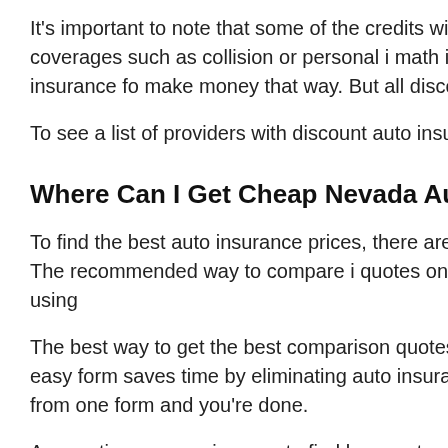It's important to note that some of the credits will not apply to all coverages. They will reduce the cost of specific coverages such as collision or personal injury protection. The math indicates having all the discounts means you get insurance for free. Companies don't make money that way. But all discounts will cut your overall premium.
To see a list of providers with discount auto insurance rates in Nevada,
Where Can I Get Cheap Nevada Auto Insurance?
To find the best auto insurance prices, there are several ways to compare rates from Nevada insurance companies. The recommended way to compare insurance rates is to get quotes online. This can be accomplished in just a few minutes using
The best way to get the best comparison quotes is to use a rate comparison form ( form in new window ). This easy form saves time by eliminating the need to visit each auto insurance company. Filling out one form will return quotes from several companies. Fill out one form and you're done.
A more time consuming way to find lower rates requires you to visit each company and fill out their own quote form. For example, we'll assume you want to compare rates from Farmers. To get each rate you have to spend time on each company website and enter your information which is about the first method this visit To get a list of